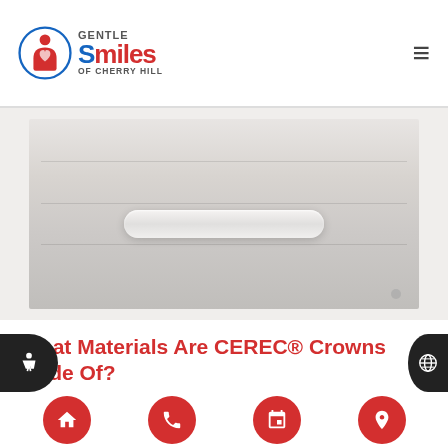Gentle Smiles of Cherry Hill
[Figure (photo): Photo of a white dental/medical equipment drawer unit with a curved handle, showing stacked drawers in white finish]
What Materials Are CEREC® Crowns Made Of?
CEREC® crowns have become a popular choice among individuals looking to repair or restore teeth that have become damaged or decayed. These types of dental crowns offer an array of advantages that other restorations cannot bring to the table. However, because they are